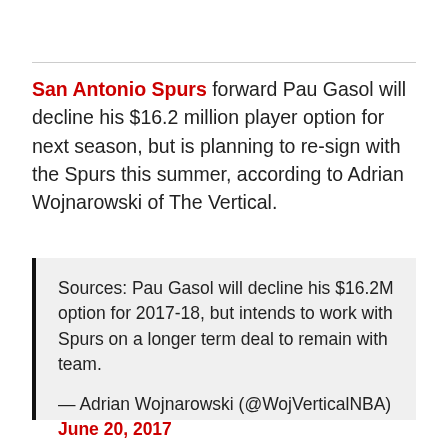San Antonio Spurs forward Pau Gasol will decline his $16.2 million player option for next season, but is planning to re-sign with the Spurs this summer, according to Adrian Wojnarowski of The Vertical.
Sources: Pau Gasol will decline his $16.2M option for 2017-18, but intends to work with Spurs on a longer term deal to remain with team.

— Adrian Wojnarowski (@WojVerticalNBA) June 20, 2017